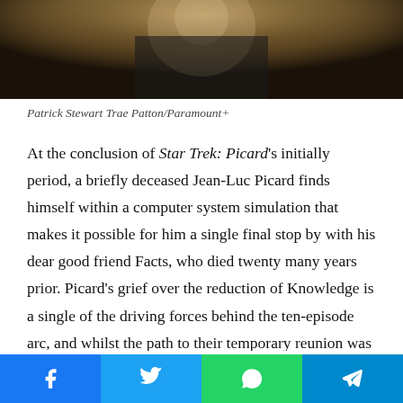[Figure (photo): Photo of Patrick Stewart (partial, dark background with warm tones) — cropped at top of page]
Patrick Stewart Trae Patton/Paramount+
At the conclusion of Star Trek: Picard's initially period, a briefly deceased Jean-Luc Picard finds himself within a computer system simulation that makes it possible for him a single final stop by with his dear good friend Facts, who died twenty many years prior. Picard's grief over the reduction of Knowledge is a single of the driving forces behind the ten-episode arc, and whilst the path to their temporary reunion was rocky, the payoff was truly highly effective. I remember watching the projection of Data's consciousness lay himself down to his closing rest, wiping tears from my eyes, and